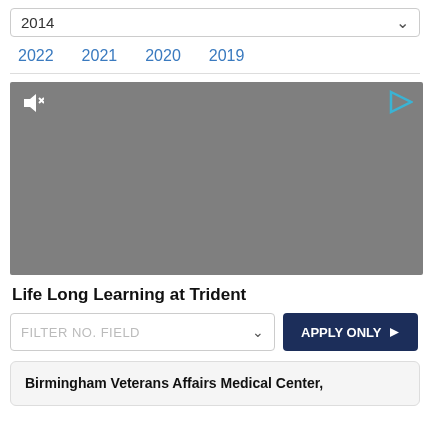2014
2022  2021  2020  2019
[Figure (screenshot): Gray video player placeholder with mute icon top-left and play/ad icon top-right]
Life Long Learning at Trident
FILTER NO. FIELD  ∨  APPLY ONLY ▶
Birmingham Veterans Affairs Medical Center,